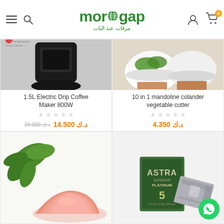morgap - مرقاب عند الباب
[Figure (photo): Product image of 1.5L Electric Drip Coffee Maker 800W - black appliance on dark background]
1.5L Electric Drip Coffee Maker 800W
د.ك 14.500 (sale price), د.ك 20.000 (original price, strikethrough)
[Figure (photo): Product image of 10 in 1 mandoline colander vegetable cutter - white bowls with vegetables]
10 in 1 mandoline colander vegetable cutter
د.ك 4.350
[Figure (photo): Pink/red powder in a pile with green leaves on white background]
[Figure (photo): Astra Superior Platinum razor blades pack of 5 with individual blade]